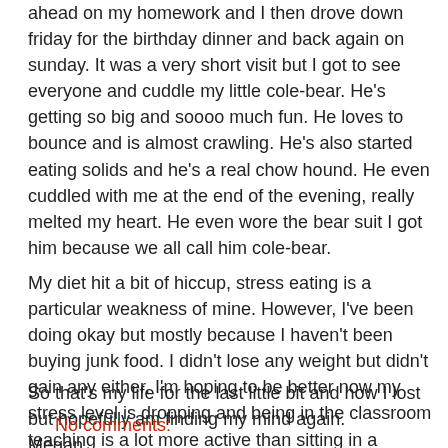ahead on my homework and I then drove down friday for the birthday dinner and back again on sunday.  It was a very short visit but I got to see everyone and cuddle my little cole-bear.  He's getting so big and soooo much fun.  He loves to bounce and is almost crawling.  He's also started eating solids and he's a real chow hound.  He even cuddled with me at the end of the evening, really melted my heart. He even wore the bear suit I got him because we all call him cole-bear.
My diet hit a bit of hiccup, stress eating is a particular weakness of mine.  However, I've been doing okay but mostly because I haven't been buying junk food.  I didn't lose any weight but didn't gain any either.  I'm hoping to be better now my stress level is dropping and being in the classroom teaching is a lot more active than sitting in a lecture.
So that's my life for the last little bit and how I lost but hopefully am finding my mind again.
Megan
No comments: